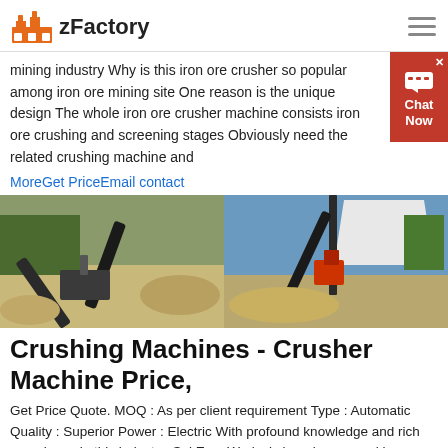zFactory
mining industry Why is this iron ore crusher so popular among iron ore mining site One reason is the unique design The whole iron ore crusher machine consists iron ore crushing and screening stages Obviously need the related crushing machine and
MoreGet PriceEmail contact
[Figure (photo): Two side-by-side photos of mining crushing equipment and conveyor belts at an outdoor mining site]
Crushing Machines - Crusher Machine Price,
Get Price Quote. MOQ : As per client requirement Type : Automatic Quality : Superior Power : Electric With profound knowledge and rich experience in this industry, Sai Eng. Works is hugely engaged in manufacturing and supplying industrial jaw crusher in Dhansura for various industrial